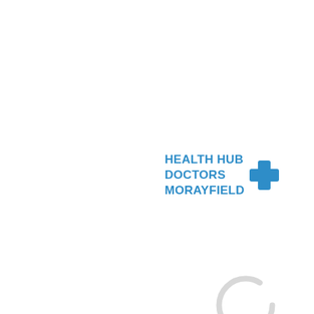[Figure (logo): Health Hub Doctors Morayfield logo with blue medical cross and circular leaf/petal design in green and teal]
[Figure (other): Loading spinner ring — a thin light gray circle indicating a loading state]